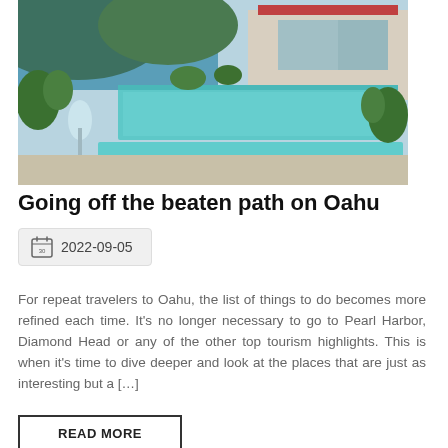[Figure (photo): Aerial or elevated view of a luxury tropical property with pools/water features, lush greenery, and ocean/beach in background, likely Oahu Hawaii]
Going off the beaten path on Oahu
2022-09-05
For repeat travelers to Oahu, the list of things to do becomes more refined each time. It's no longer necessary to go to Pearl Harbor, Diamond Head or any of the other top tourism highlights. This is when it's time to dive deeper and look at the places that are just as interesting but a […]
READ MORE